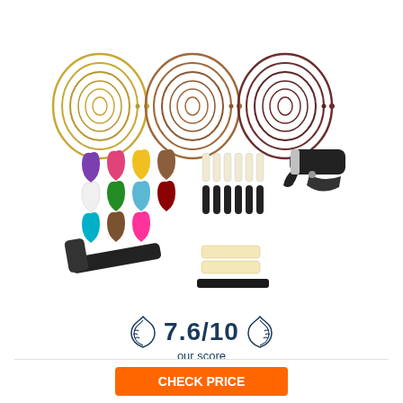[Figure (photo): Guitar accessories kit laid out on white background: three sets of guitar strings (gold, copper, dark red coiled), colorful guitar picks (12 picks in purple, pink, yellow, tortoise, white, green, teal, etc.), bridge pins (white and black sets), capo (black), string winder (black), nut/saddle pieces (cream colored), and a nut file.]
7.6/10
our score